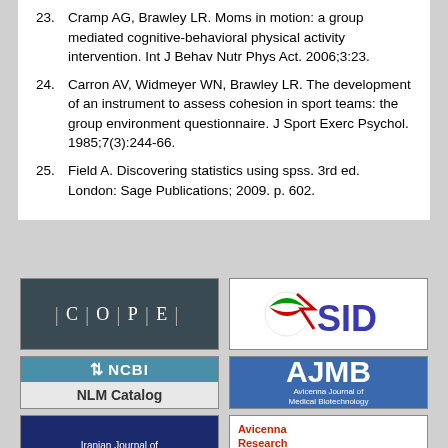23. Cramp AG, Brawley LR. Moms in motion: a group mediated cognitive-behavioral physical activity intervention. Int J Behav Nutr Phys Act. 2006;3:23.
24. Carron AV, Widmeyer WN, Brawley LR. The development of an instrument to assess cohesion in sport teams: the group environment questionnaire. J Sport Exerc Psychol. 1985;7(3):244-66.
25. Field A. Discovering statistics using spss. 3rd ed. London: Sage Publications; 2009. p. 602.
[Figure (logo): COPE logo - dark teal background with white text C|O|P|E]
[Figure (logo): SID logo - white background with Iranian flag emblem and blue SID text]
[Figure (logo): NCBI NLM Catalog logo - blue top section with NCBI text, gray bottom with NLM Catalog]
[Figure (logo): AJMB - Avicenna Journal of Medical Biotechnology logo on blue background]
[Figure (logo): Iranian Journal of Biomedical Law and Ethics logo on dark blue background]
[Figure (logo): Avicenna Research Institute logo with red and blue text on white background]